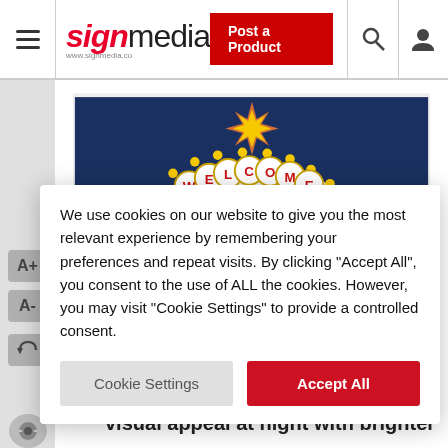signmedia — Post a Product
[Figure (photo): Welcome to Fabulous Las Vegas Nevada illuminated sign at night against dark blue sky]
With the advent of acrylic sheets, translucency
We use cookies on our website to give you the most relevant experience by remembering your preferences and repeat visits. By clicking "Accept All", you consent to the use of ALL the cookies. However, you may visit "Cookie Settings" to provide a controlled consent.
lit materials to achieve strong visual appeal at night with brighter